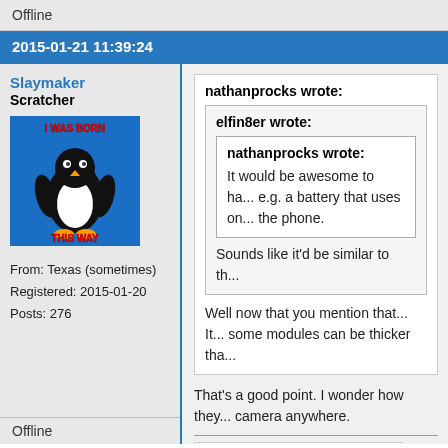Offline
2015-01-21 11:39:24
Slaymaker
Scratcher
[Figure (photo): Avatar image of a penguin meme with text 'I WAS BORN THIS WAY']
From: Texas (sometimes)
Registered: 2015-01-20
Posts: 276
nathanprocks wrote:

elfin8er wrote:

nathanprocks wrote:

It would be awesome to ha... e.g. a battery that uses on... the phone.

Sounds like it'd be similar to th...

Well now that you mention that... It... some modules can be thicker tha...
That's a good point. I wonder how they... camera anywhere.
[Figure (photo): Broken image placeholder: meme-faces-3-meme-fb-cover.jpg]
Offline